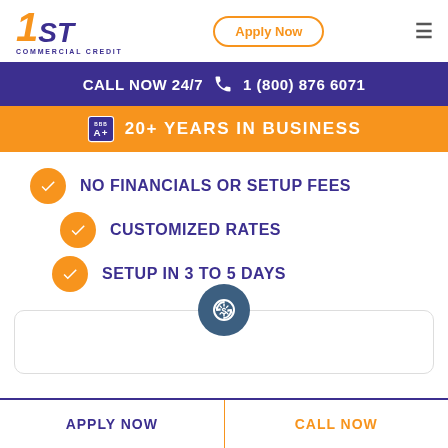[Figure (logo): 1ST Commercial Credit logo with orange '1' and blue 'ST' text, italic style, 'COMMERCIAL CREDIT' subtitle below]
Apply Now
≡
CALL NOW 24/7  📞  1 (800) 876 6071
BBB A+  20+ YEARS IN BUSINESS
NO FINANCIALS OR SETUP FEES
CUSTOMIZED RATES
SETUP IN 3 TO 5 DAYS
[Figure (illustration): Dollar sign refresh/cycle icon in dark blue circle]
APPLY NOW
CALL NOW